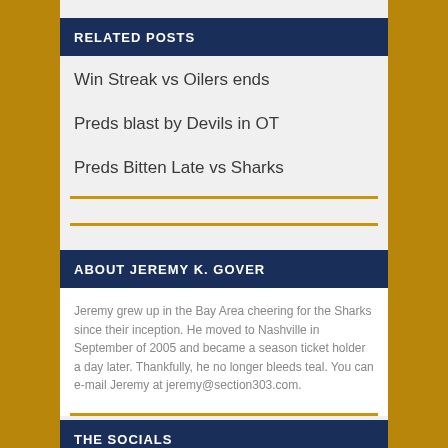RELATED POSTS
Win Streak vs Oilers ends
Preds blast by Devils in OT
Preds Bitten Late vs Sharks
ABOUT JEREMY K. GOVER
Jeremy grew up in the Bay Area cheering for the Sharks since their inception. He moved to Nashville in September of 2005 and became a season ticket holder a day later. Thankfully, he no longer bleeds teal. You can e-mail Jeremy at jeremy@section303.com.
THE SOCIALS